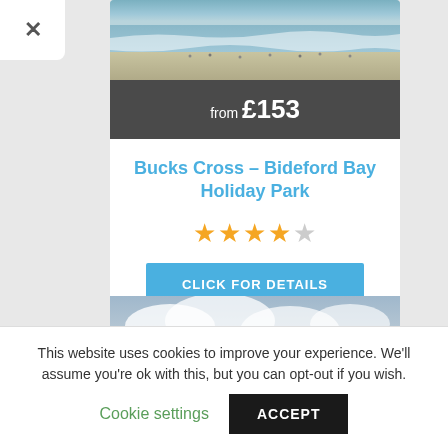[Figure (photo): Aerial view of a beach with waves and people on the sand]
from £153
Bucks Cross – Bideford Bay Holiday Park
★★★★☆ (4 out of 5 stars)
CLICK FOR DETAILS
[Figure (photo): Coastal hillside village with cloudy sky]
This website uses cookies to improve your experience. We'll assume you're ok with this, but you can opt-out if you wish.
Cookie settings
ACCEPT